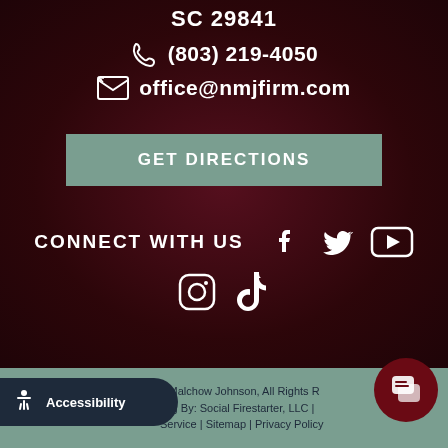SC 29841
(803) 219-4050
office@nmjfirm.com
GET DIRECTIONS
CONNECT WITH US
[Figure (logo): Social media icons: Facebook, Twitter, YouTube, Instagram, TikTok]
Accessibility | s Malchow Johnson, All Rights R... | ting By: Social Firestarter, LLC | ... Service | Sitemap | Privacy Policy